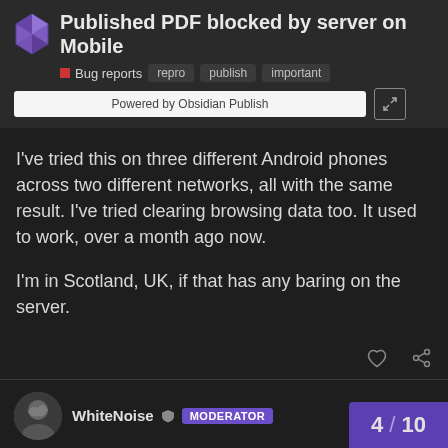Published PDF blocked by server on Mobile
Bug reports  repro  publish  important
[Figure (screenshot): Powered by Obsidian Publish banner with expand icon]
I've tried this on three different Android phones across two different networks, all with the same result. I've tried clearing browsing data too. It used to work, over a month ago now.
I'm in Scotland, UK, if that has any baring on the server.
WhiteNoise  MODERATOR  Aug '21
ok, I can reproduce the problem on chrome mobile.
4 / 10